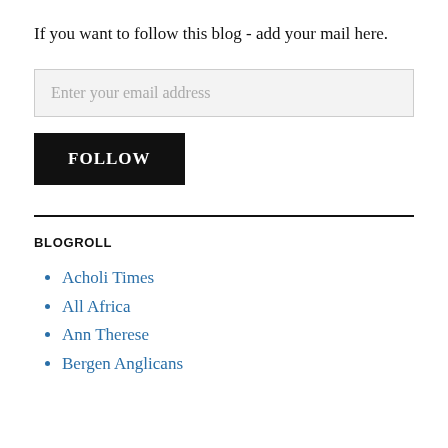If you want to follow this blog - add your mail here.
Enter your email address
FOLLOW
BLOGROLL
Acholi Times
All Africa
Ann Therese
Bergen Anglicans